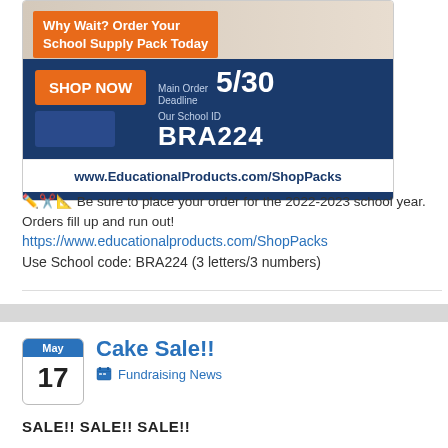[Figure (infographic): School supply pack advertisement with orange and navy blue design. Shows 'Why Wait? Order Your School Supply Pack Today' banner, SHOP NOW button, Main Order Deadline 5/30, Our School ID BRA224, and website www.EducationalProducts.com/ShopPacks]
✏️✂️📐 Be sure to place your order for the 2022-2023 school year. Orders fill up and run out!
https://www.educationalproducts.com/ShopPacks
Use School code: BRA224 (3 letters/3 numbers)
Cake Sale!!
Fundraising News
SALE!! SALE!! SALE!!